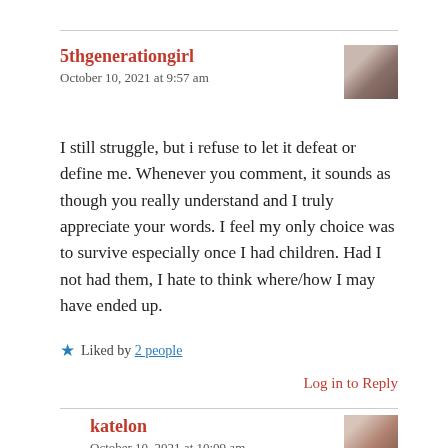5thgenerationgirl
October 10, 2021 at 9:57 am
I still struggle, but i refuse to let it defeat or define me. Whenever you comment, it sounds as though you really understand and I truly appreciate your words. I feel my only choice was to survive especially once I had children. Had I not had them, I hate to think where/how I may have ended up.
Liked by 2 people
Log in to Reply
katelon
October 10, 2021 at 10:09 am